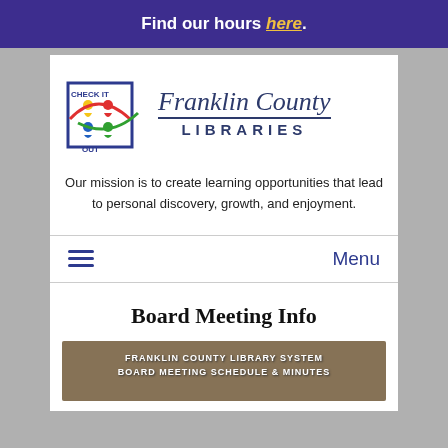Find our hours here.
[Figure (logo): Franklin County Libraries logo with colorful figures and 'Check It Out' text]
Our mission is to create learning opportunities that lead to personal discovery, growth, and enjoyment.
Menu
Board Meeting Info
[Figure (photo): Franklin County Library System Board Meeting Schedule & Minutes document image]